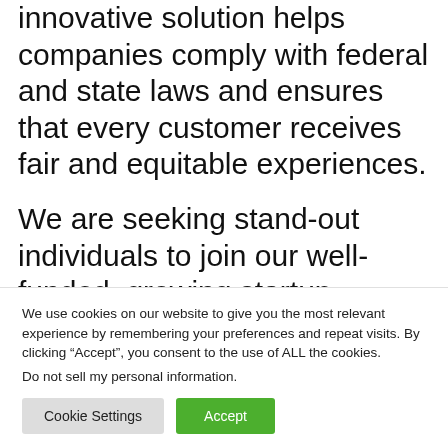innovative solution helps companies comply with federal and state laws and ensures that every customer receives fair and equitable experiences.
We are seeking stand-out individuals to join our well-funded, growing startup. Qualified candidates must possess an insatiable desire to innovate, execute and
We use cookies on our website to give you the most relevant experience by remembering your preferences and repeat visits. By clicking “Accept”, you consent to the use of ALL the cookies.
Do not sell my personal information.